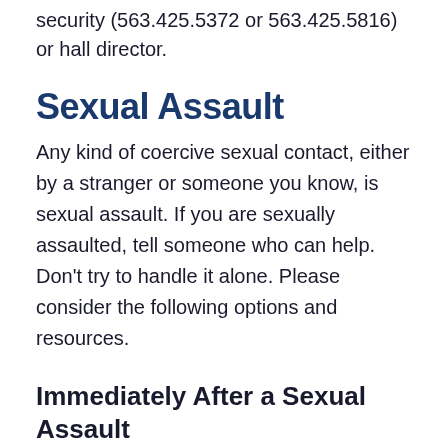security (563.425.5372 or 563.425.5816) or hall director.
Sexual Assault
Any kind of coercive sexual contact, either by a stranger or someone you know, is sexual assault. If you are sexually assaulted, tell someone who can help. Don't try to handle it alone. Please consider the following options and resources.
Immediately After a Sexual Assault
Contact an RA or hall director for help.